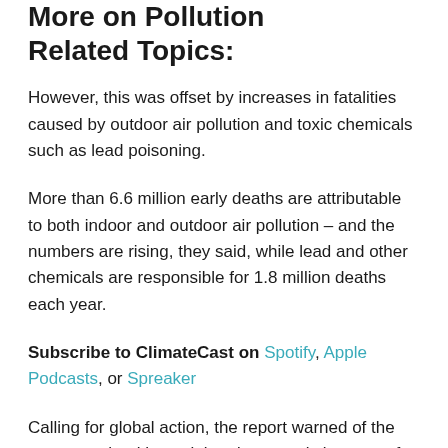More on Pollution Related Topics:
However, this was offset by increases in fatalities caused by outdoor air pollution and toxic chemicals such as lead poisoning.
More than 6.6 million early deaths are attributable to both indoor and outdoor air pollution – and the numbers are rising, they said, while lead and other chemicals are responsible for 1.8 million deaths each year.
Subscribe to ClimateCast on Spotify, Apple Podcasts, or Spreaker
Calling for global action, the report warned of the enormous health, social and economic impacts of pollution